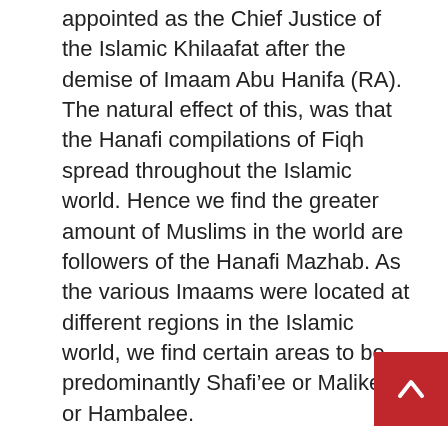appointed as the Chief Justice of the Islamic Khilaafat after the demise of Imaam Abu Hanifa (RA). The natural effect of this, was that the Hanafi compilations of Fiqh spread throughout the Islamic world. Hence we find the greater amount of Muslims in the world are followers of the Hanafi Mazhab. As the various Imaams were located at different regions in the Islamic world, we find certain areas to be predominantly Shafi'ee or Malikee or Hambalee.
These four Madh'hab formed the basis and blueprint for Islam from their inception to this day. The Ulama of this Ummah have trusted and worked within the framework of the Madh'hab throughout the centuries with unanimity. This unanimity is known as Ijmaa' (consensus of the scholars). Ijmaa' is a Hujjat Qaatiah (an indisputable proof) in Islamic law.